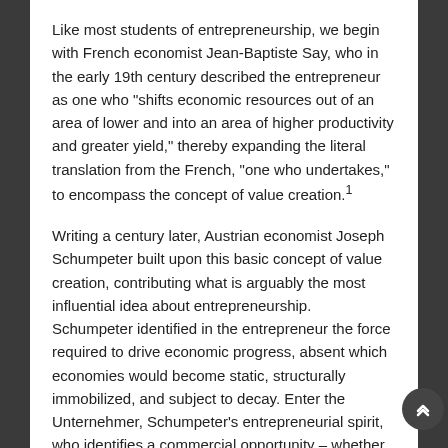Like most students of entrepreneurship, we begin with French economist Jean-Baptiste Say, who in the early 19th century described the entrepreneur as one who "shifts economic resources out of an area of lower and into an area of higher productivity and greater yield," thereby expanding the literal translation from the French, "one who undertakes," to encompass the concept of value creation.1
Writing a century later, Austrian economist Joseph Schumpeter built upon this basic concept of value creation, contributing what is arguably the most influential idea about entrepreneurship. Schumpeter identified in the entrepreneur the force required to drive economic progress, absent which economies would become static, structurally immobilized, and subject to decay. Enter the Unternehmer, Schumpeter's entrepreneurial spirit, who identifies a commercial opportunity – whether a material, product, service, or business – and organizes a venture to implement it. Successful entrepreneurship, he argues, sets off a chain reaction, encouraging other entrepreneurs to iterate